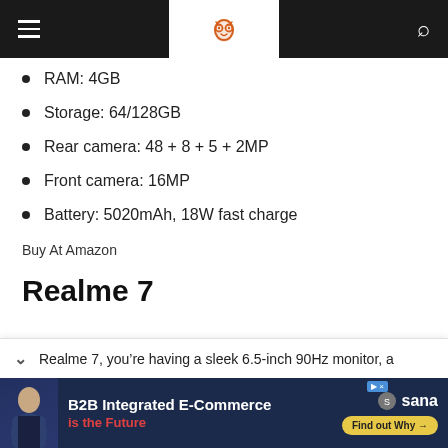Navigation bar with hamburger menu, logo, and search icon
RAM: 4GB
Storage: 64/128GB
Rear camera: 48 + 8 + 5 + 2MP
Front camera: 16MP
Battery: 5020mAh, 18W fast charge
Buy At Amazon
Realme 7
Realme 7, you’re having a sleek 6.5-inch 90Hz monitor, a
[Figure (other): Advertisement banner: B2B Integrated E-Commerce is the Future, Sana logo, Find out Why button]